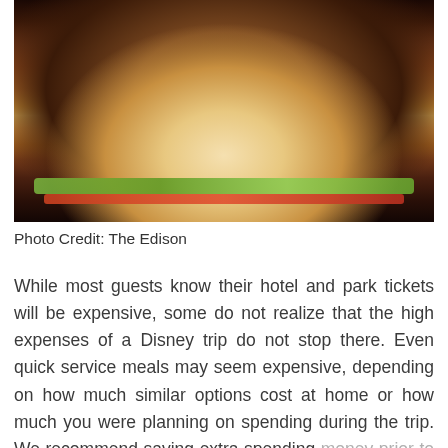[Figure (photo): Close-up photo of a large burger with melted cheese, crispy onions on top, lettuce, tomato, on a bun, served on a white plate with french fries on the side]
Photo Credit: The Edison
While most guests know their hotel and park tickets will be expensive, some do not realize that the high expenses of a Disney trip do not stop there. Even quick service meals may seem expensive, depending on how much similar options cost at home or how much you were planning on spending during the trip. We recommend saving extra spending money prior to your trip, or researching the Disney Dining Plan to see what will